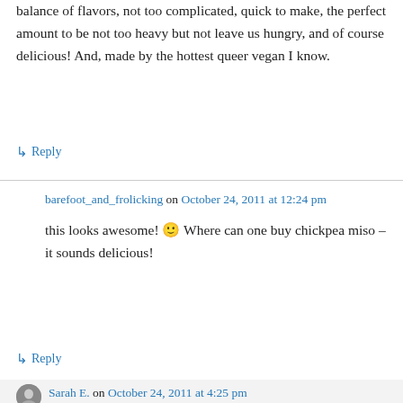balance of flavors, not too complicated, quick to make, the perfect amount to be not too heavy but not leave us hungry, and of course delicious! And, made by the hottest queer vegan I know.
↳ Reply
barefoot_and_frolicking on October 24, 2011 at 12:24 pm
this looks awesome! 🙂 Where can one buy chickpea miso – it sounds delicious!
↳ Reply
Sarah E. on October 24, 2011 at 4:25 pm